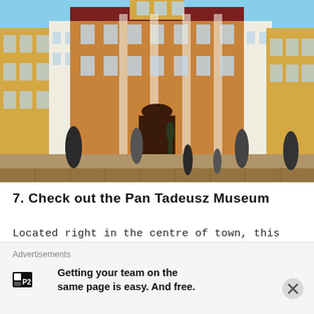[Figure (photo): Courtyard of the Pan Tadeusz Museum in Wroclaw — a baroque/neoclassical yellow building with sculptures in the forecourt and people walking around, sunny day]
7. Check out the Pan Tadeusz Museum
Located right in the centre of town, this museum is dedicated to Mickiewicz's epic poem Pan Tadeusz and gives a great insight
Advertisements
Getting your team on the same page is easy. And free.